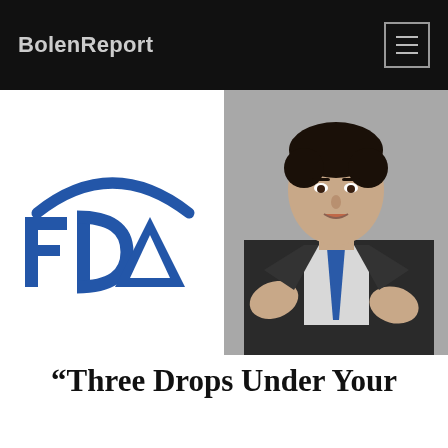BolenReport
[Figure (photo): Split composite image: left half shows the FDA logo (blue letters 'FDA' with arc above) on white background; right half shows a dark-haired man in a dark suit and blue tie, gesturing with both hands, photographed in an office setting.]
“Three Drops Under Your